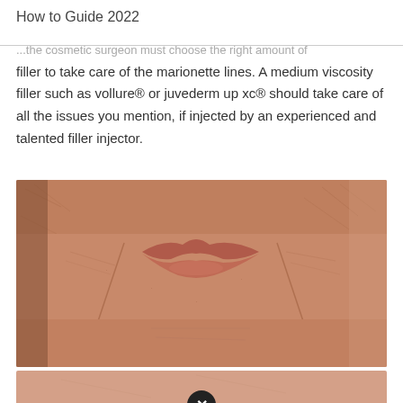How to Guide 2022
...the cosmetic surgeon must choose the right amount of filler to take care of the marionette lines. A medium viscosity filler such as vollure® or juvederm up xc® should take care of all the issues you mention, if injected by an experienced and talented filler injector.
[Figure (photo): Close-up photograph of an elderly person's lower face showing lips and marionette lines/wrinkles around the mouth area, with visible skin texture and aging lines.]
[Figure (photo): Partial view of another close-up photograph of facial skin, cropped at the bottom of the page, with a close/dismiss button overlay.]